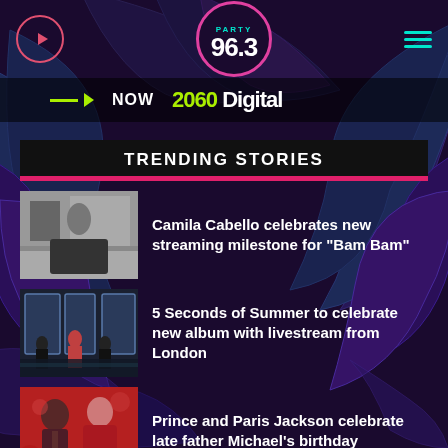[Figure (screenshot): Party 96.3 radio station mobile app screenshot with tropical palm leaves background, play button, logo, hamburger menu, NOW playing bar with 2060 Digital, and trending stories section]
PARTY 96.3
NOW  2060 Digital
TRENDING STORIES
Camila Cabello celebrates new streaming milestone for "Bam Bam"
5 Seconds of Summer to celebrate new album with livestream from London
Prince and Paris Jackson celebrate late father Michael's birthday